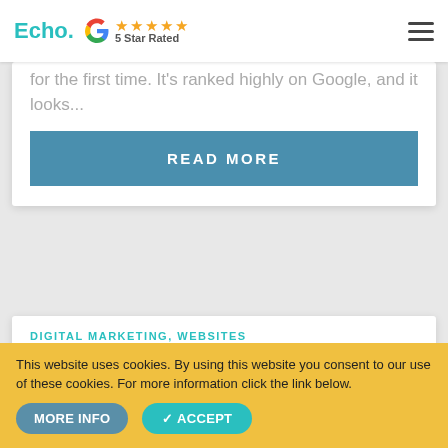Echo. [Google logo] ★★★★★ 5 Star Rated
for the first time. It's ranked highly on Google, and it looks...
READ MORE
DIGITAL MARKETING, WEBSITES
HOW CAN I IMPROVE TRUST ON MY WEBSITE?
This website uses cookies. By using this website you consent to our use of these cookies. For more information click the link below.
MORE INFO   ACCEPT